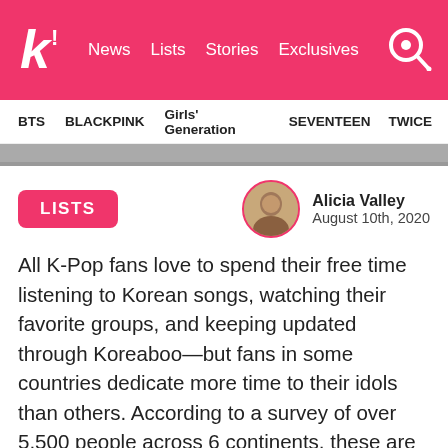k! News Lists Stories Exclusives
BTS  BLACKPINK  Girls' Generation  SEVENTEEN  TWICE
[Figure (photo): Partial cropped photo strip of K-pop group members]
LISTS
Alicia Valley
August 10th, 2020
All K-Pop fans love to spend their free time listening to Korean songs, watching their favorite groups, and keeping updated through Koreaboo—but fans in some countries dedicate more time to their idols than others. According to a survey of over 5,500 people across 6 continents, these are the top 10 countries where fans spend the most time consuming K-Pop content.